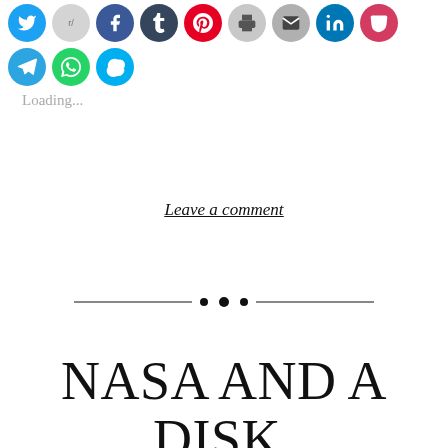[Figure (other): Row of social media sharing icon circles: Twitter (blue), Reddit (light gray), Facebook (dark blue), Tumblr (dark navy), Pinterest (red), Print (gray), Email (gray), LinkedIn (blue), Pocket (red), Telegram (blue), WhatsApp (green), and Skype (cyan blue) on second row]
Loading...
Leave a comment
[Figure (other): Decorative horizontal divider with ornamental dots in the center and thin lines extending to each side]
NASA AND A DISK, SCIENCE AND ART